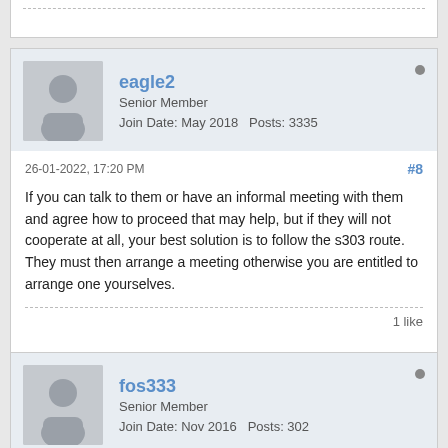[Figure (illustration): Partial forum post card at top of page, showing dotted divider line]
eagle2
Senior Member
Join Date: May 2018    Posts: 3335
26-01-2022, 17:20 PM
#8
If you can talk to them or have an informal meeting with them and agree how to proceed that may help, but if they will not cooperate at all, your best solution is to follow the s303 route. They must then arrange a meeting otherwise you are entitled to arrange one yourselves.
1 like
fos333
Senior Member
Join Date: Nov 2016    Posts: 302